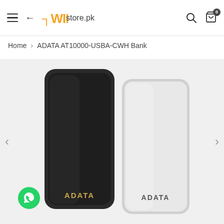WIN store.pk — navigation header with hamburger menu, back arrow, logo, search icon, and cart icon with badge 0
Home > ADATA AT10000-USBA-CWH Bank
[Figure (photo): Two ADATA power banks side by side — one black (left) and one white (right), both showing the ADATA logo in gold/dark text at the bottom. Navigation arrows on left and right. WhatsApp contact button at bottom left.]